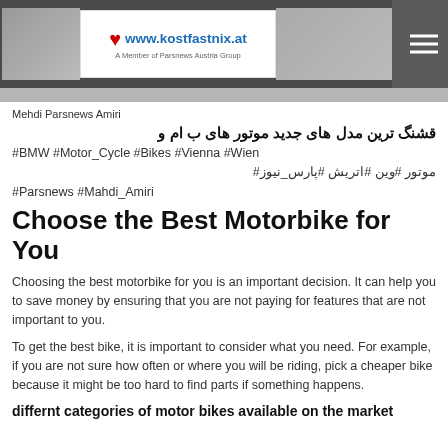www.kostfastnix.at — A Member of Parsnews Austria Group
Mehdi Parsnews Amiri
قشنگ ترین مدل های جدید موتور های ب ام و
#BMW #Motor_Cycle #Bikes #Vienna #Wien
موتور #وین #اتریش #پارس_نیوز#
#Parsnews #Mahdi_Amiri
Choose the Best Motorbike for You
Choosing the best motorbike for you is an important decision. It can help you to save money by ensuring that you are not paying for features that are not important to you.
To get the best bike, it is important to consider what you need. For example, if you are not sure how often or where you will be riding, pick a cheaper bike because it might be too hard to find parts if something happens.
differnt categories of motor bikes available on the market